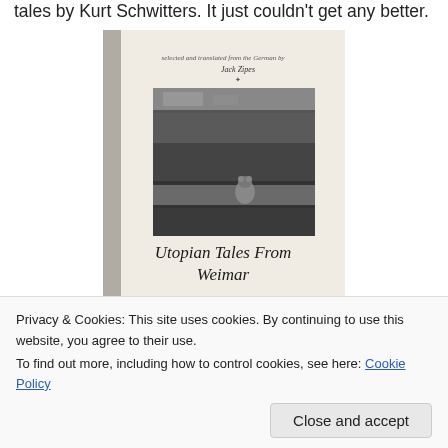tales by Kurt Schwitters. It just couldn't get any better.
[Figure (photo): A photograph of a book titled 'Utopian Tales From Weimar', with 'selected and translated from the German by Jack Zipes' on the cover, published by Poly... (publisher name partially visible). The cover shows a black-and-white image of what appears to be shelves or furniture.]
Privacy & Cookies: This site uses cookies. By continuing to use this website, you agree to their use.
To find out more, including how to control cookies, see here: Cookie Policy
Close and accept